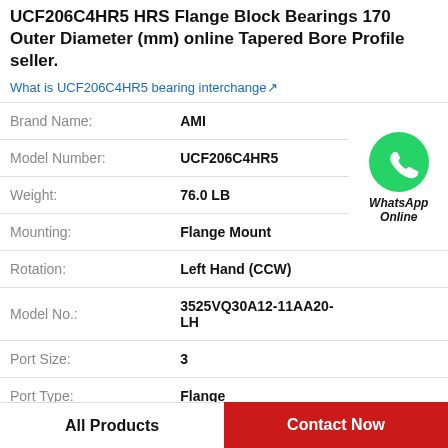UCF206C4HR5 HRS Flange Block Bearings 170 Outer Diameter (mm) online Tapered Bore Profile seller.
What is UCF206C4HR5 bearing interchange?
| Property | Value |
| --- | --- |
| Brand Name: | AMI |
| Model Number: | UCF206C4HR5 |
| Weight: | 76.0 LB |
| Mounting: | Flange Mount |
| Rotation: | Left Hand (CCW) |
| Model No.: | 3525VQ30A12-11AA20-LH |
| Port Size: | 3 |
| Port Type: | Flange |
[Figure (logo): WhatsApp Online contact icon — green circle with white phone handset symbol, labeled WhatsApp Online]
All Products
Contact Now